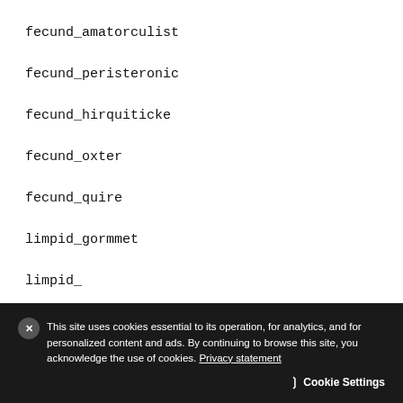fecund_amatorculist
fecund_peristeronic
fecund_hirquiticke
fecund_oxter
fecund_quire
limpid_gormmet
limpid_...
This site uses cookies essential to its operation, for analytics, and for personalized content and ads. By continuing to browse this site, you acknowledge the use of cookies. Privacy statement
Cookie Settings